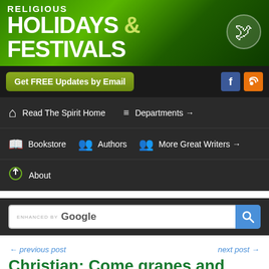RELIGIOUS HOLIDAYS & FESTIVALS
Get FREE Updates by Email
Read The Spirit Home
Departments →
Bookstore
Authors
More Great Writers →
About
ENHANCED BY Google
← previous post
next post →
Christian: Come grapes and bells for the Nativity of Mary